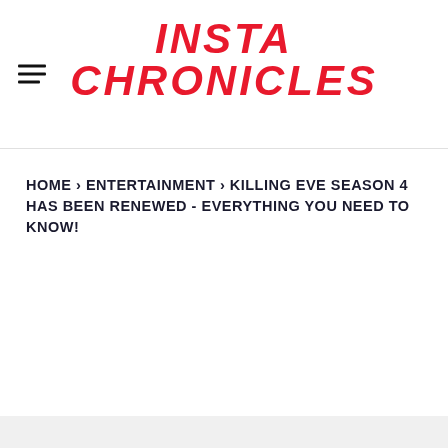INSTA CHRONICLES
HOME › ENTERTAINMENT › KILLING EVE SEASON 4 HAS BEEN RENEWED - EVERYTHING YOU NEED TO KNOW!